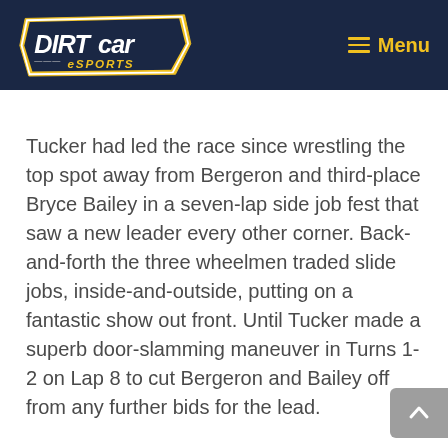DIRTcar eSPORTS — Menu
Tucker had led the race since wrestling the top spot away from Bergeron and third-place Bryce Bailey in a seven-lap side job fest that saw a new leader every other corner. Back-and-forth the three wheelmen traded slide jobs, inside-and-outside, putting on a fantastic show out front. Until Tucker made a superb door-slamming maneuver in Turns 1-2 on Lap 8 to cut Bergeron and Bailey off from any further bids for the lead.
“That was a fun race, for sure,” Bailey said, reflecting back on the ultimate duel for the lead in the early … “The first 10 laps were exciting to see. What …